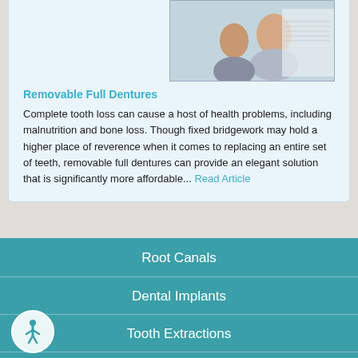[Figure (photo): Photo of an older couple, partially visible at top of card]
Removable Full Dentures
Complete tooth loss can cause a host of health problems, including malnutrition and bone loss. Though fixed bridgework may hold a higher place of reverence when it comes to replacing an entire set of teeth, removable full dentures can provide an elegant solution that is significantly more affordable... Read Article
Root Canals
Dental Implants
Tooth Extractions
Porcelain Veneers